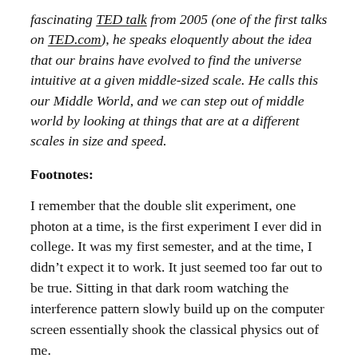fascinating TED talk from 2005 (one of the first talks on TED.com), he speaks eloquently about the idea that our brains have evolved to find the universe intuitive at a given middle-sized scale. He calls this our Middle World, and we can step out of middle world by looking at things that are at a different scales in size and speed.
Footnotes:
I remember that the double slit experiment, one photon at a time, is the first experiment I ever did in college. It was my first semester, and at the time, I didn't expect it to work. It just seemed too far out to be true. Sitting in that dark room watching the interference pattern slowly build up on the computer screen essentially shook the classical physics out of me.